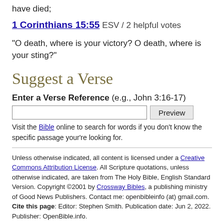have died;
1 Corinthians 15:55 ESV / 2 helpful votes
“O death, where is your victory? O death, where is your sting?”
Suggest a Verse
Enter a Verse Reference (e.g., John 3:16-17)
Visit the Bible online to search for words if you don’t know the specific passage your’re looking for.
Unless otherwise indicated, all content is licensed under a Creative Commons Attribution License. All Scripture quotations, unless otherwise indicated, are taken from The Holy Bible, English Standard Version. Copyright ©2001 by Crossway Bibles, a publishing ministry of Good News Publishers. Contact me: openbibleinfo (at) gmail.com. Cite this page: Editor: Stephen Smith. Publication date: Jun 2, 2022. Publisher: OpenBible.info.